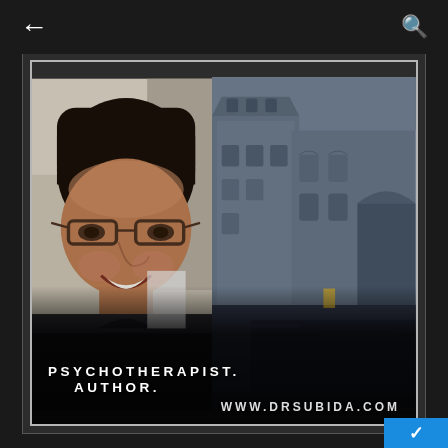[Figure (screenshot): Mobile app screenshot showing a social media profile card. Left side: close-up photo of a smiling man with glasses and dark hair wearing a black top. Right side: dark moody street scene with European-style buildings. Bottom overlay text reads PSYCHOTHERAPIST. AUTHOR. WWW.DRSUBIDA.COM. Navigation bar at top with back arrow (left) and search icon (right).]
PSYCHOTHERAPIST. AUTHOR. WWW.DRSUBIDA.COM